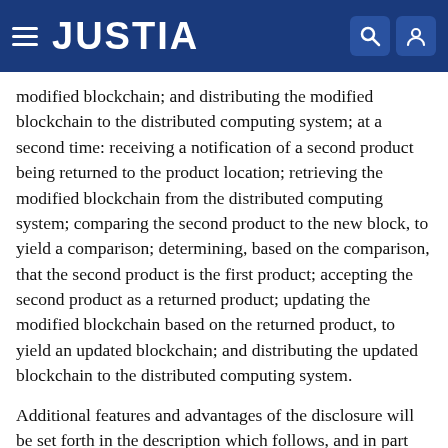JUSTIA
modified blockchain; and distributing the modified blockchain to the distributed computing system; at a second time: receiving a notification of a second product being returned to the product location; retrieving the modified blockchain from the distributed computing system; comparing the second product to the new block, to yield a comparison; determining, based on the comparison, that the second product is the first product; accepting the second product as a returned product; updating the modified blockchain based on the returned product, to yield an updated blockchain; and distributing the updated blockchain to the distributed computing system.
Additional features and advantages of the disclosure will be set forth in the description which follows, and in part will be obvious from the description, or can be learned